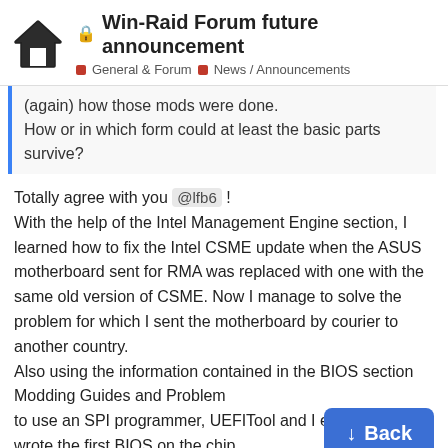Win-Raid Forum future announcement — General & Forum · News / Announcements
(again) how those mods were done.
How or in which form could at least the basic parts survive?
Totally agree with you @lfb6 !
With the help of the Intel Management Engine section, I learned how to fix the Intel CSME update when the ASUS motherboard sent for RMA was replaced with one with the same old version of CSME. Now I manage to solve the problem for which I sent the motherboard by courier to another country.
Also using the information contained in the BIOS section Modding Guides and Problem to use an SPI programmer, UEFITool and I even wrote the first BIOS on the chip.
10 / 95